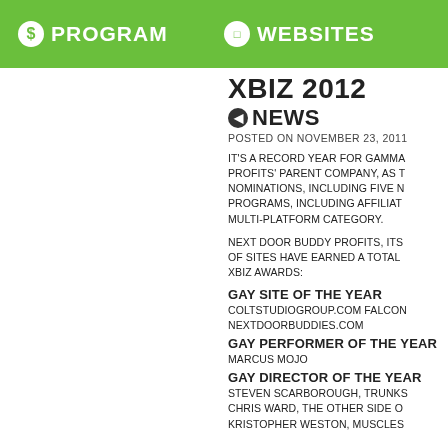$ PROGRAM   WEBSITES
XBIZ 2012
NEWS
POSTED ON NOVEMBER 23, 2011
IT'S A RECORD YEAR FOR GAMMA PROFITS' PARENT COMPANY, AS T NOMINATIONS, INCLUDING FIVE N PROGRAMS, INCLUDING AFFILIAT MULTI-PLATFORM CATEGORY.
NEXT DOOR BUDDY PROFITS, ITS OF SITES HAVE EARNED A TOTAL XBIZ AWARDS:
GAY SITE OF THE YEAR
COLTSTUDIOGROUP.COM FALCON NEXTDOORBUDDIES.COM
GAY PERFORMER OF THE YEAR
MARCUS MOJO
GAY DIRECTOR OF THE YEAR
STEVEN SCARBOROUGH, TRUNKS CHRIS WARD, THE OTHER SIDE O KRISTOPHER WESTON, MUSCLES